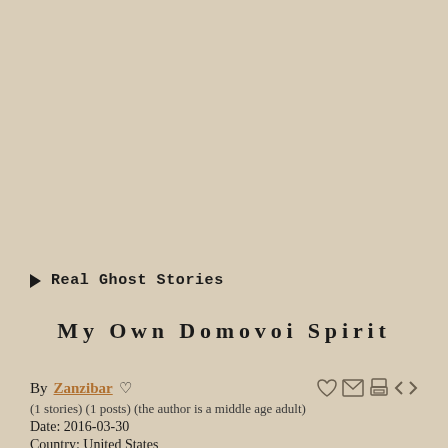▶ Real Ghost Stories
My Own Domovoi Spirit
By Zanzibar ♡
(1 stories) (1 posts) (the author is a middle age adult)
Date: 2016-03-30
Country: United States